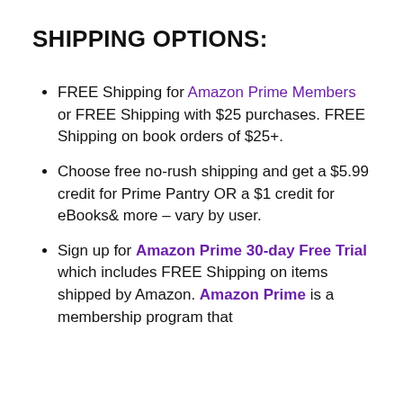SHIPPING OPTIONS:
FREE Shipping for Amazon Prime Members or FREE Shipping with $25 purchases. FREE Shipping on book orders of $25+.
Choose free no-rush shipping and get a $5.99 credit for Prime Pantry OR a $1 credit for eBooks& more – vary by user.
Sign up for Amazon Prime 30-day Free Trial which includes FREE Shipping on items shipped by Amazon. Amazon Prime is a membership program that